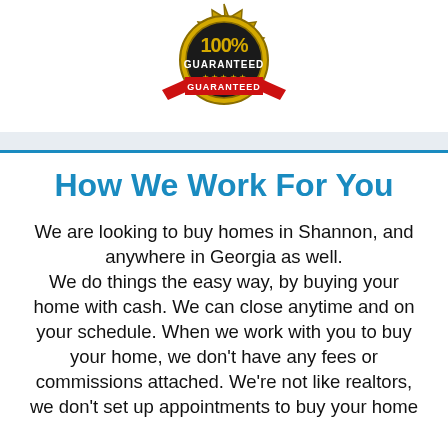[Figure (logo): 100% Guaranteed badge/seal — gold and red circular badge with ribbon and stars]
How We Work For You
We are looking to buy homes in Shannon, and anywhere in Georgia as well. We do things the easy way, by buying your home with cash. We can close anytime and on your schedule. When we work with you to buy your home, we don't have any fees or commissions attached. We're not like realtors, we don't set up appointments to buy your home